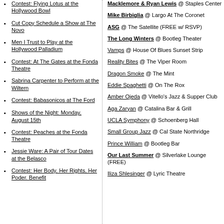Contest: Flying Lotus at the Hollywood Bowl
Cut Copy Schedule a Show at The Novo
Men I Trust to Play at the Hollywood Palladium
Contest: At The Gates at the Fonda Theatre
Sabrina Carpenter to Perform at the Wiltern
Contest: Babasonicos at The Ford
Shows of the Night: Monday, August 15th
Contest: Peaches at the Fonda Theatre
Jessie Ware: A Pair of Tour Dates at the Belasco
Contest: Her Body, Her Rights, Her Poder. Benefit
Macklemore & Ryan Lewis @ Staples Center
Mike Birbiglia @ Largo At The Coronet
ASG @ The Satellite (FREE w/ RSVP)
The Long Winters @ Bootleg Theater
Vamps @ House Of Blues Sunset Strip
Reality Bites @ The Viper Room
Dragon Smoke @ The Mint
Eddie Spaghetti @ On The Rox
Amber Ojeda @ Vitello's Jazz & Supper Club
Aga Zaryan @ Catalina Bar & Grill
UCLA Symphony @ Schoenberg Hall
Small Group Jazz @ Cal State Northridge
Prince William @ Bootleg Bar
Our Last Summer @ Silverlake Lounge (FREE)
Iliza Shlesinger @ Lyric Theatre